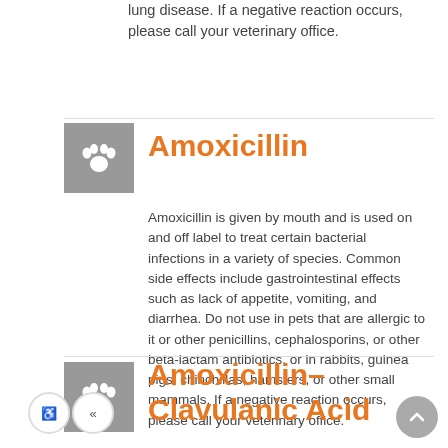lung disease. If a negative reaction occurs, please call your veterinary office.
Amoxicillin
Amoxicillin is given by mouth and is used on and off label to treat certain bacterial infections in a variety of species. Common side effects include gastrointestinal effects such as lack of appetite, vomiting, and diarrhea. Do not use in pets that are allergic to it or other penicillins, cephalosporins, or other beta-lactam antibiotics, or in rabbits, guinea pigs, chinchillas, hamsters, or other small mammals. If a negative reaction occurs, please call your veterinary office.
Amoxicillin-Clavulanic Acid